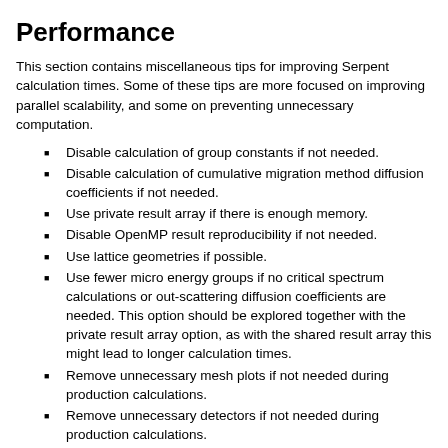Performance
This section contains miscellaneous tips for improving Serpent calculation times. Some of these tips are more focused on improving parallel scalability, and some on preventing unnecessary computation.
Disable calculation of group constants if not needed.
Disable calculation of cumulative migration method diffusion coefficients if not needed.
Use private result array if there is enough memory.
Disable OpenMP result reproducibility if not needed.
Use lattice geometries if possible.
Use fewer micro energy groups if no critical spectrum calculations or out-scattering diffusion coefficients are needed. This option should be explored together with the private result array option, as with the shared result array this might lead to longer calculation times.
Remove unnecessary mesh plots if not needed during production calculations.
Remove unnecessary detectors if not needed during production calculations.
Tune the ratio of neutrons per generation and number of cycles